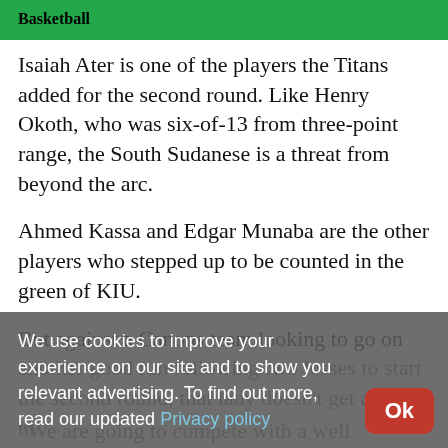Basketball
Isaiah Ater is one of the players the Titans added for the second round. Like Henry Okoth, who was six-of-13 from three-point range, the South Sudanese is a threat from beyond the arc.
Ahmed Kassa and Edgar Munaba are the other players who stepped up to be counted in the green of KIU.
But against a Canons team looking to go on another good run following two losses to start the second round, that lady doesn't get any to
"We are going to compete with a well
We use cookies to improve your experience on our site and to show you relevant advertising. To find out more, read our updated Privacy policy